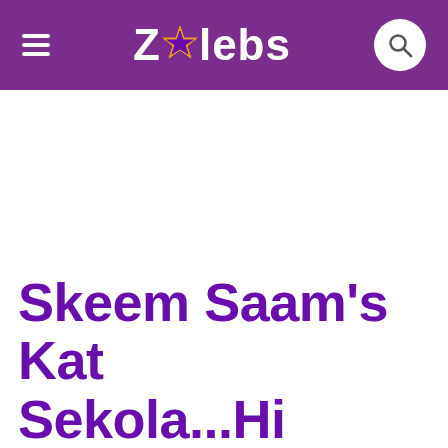ZAlebs
Skeem Saam's Kat Sekola...Hi